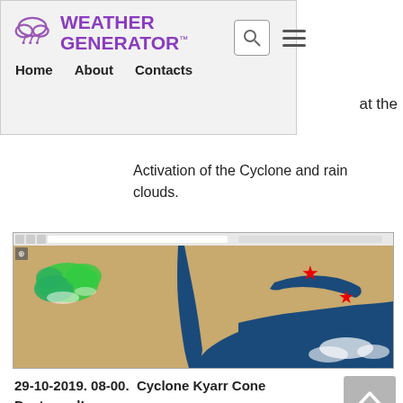WEATHER GENERATOR™
Home   About   Contacts
at the
Activation of the Cyclone and rain clouds.
[Figure (screenshot): Satellite map screenshot showing Middle East / Arabian Peninsula region with green cloud patches on the left side and two red star markers on the right side over the Arabian Sea area.]
29-10-2019. 08-00.  Cyclone Kyarr Cone Destroyed!
1 hour before turning on the generator mode. To activate cloud cover. Cyclone funnel (EYE) is destroyed! And without